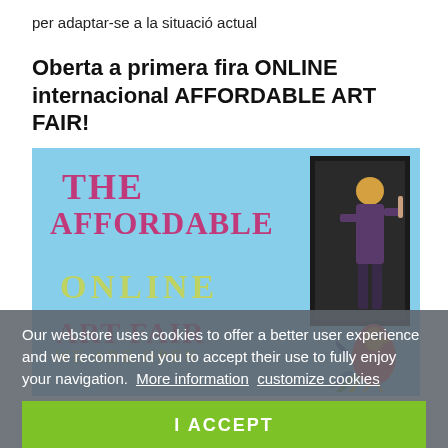per adaptar-se a la situació actual
Oberta a primera fira ONLINE internacional AFFORDABLE ART FAIR!
[Figure (illustration): Promotional banner for The Affordable Online Art Fair. Light blue background with bold magenta/pink title text reading 'THE AFFORDABLE ONLINE ART FAIR'. A dark-framed painting of a figure is shown in the upper right. A colorful bird illustration is in the lower right. Text at bottom says 'WE ARE OPEN' in yellow-green.]
Our webstore uses cookies to offer a better user experience and we recommend you to accept their use to fully enjoy your navigation.  More information  customize cookies
I ACCEPT
La galeria inquieta de l'artista global espanyola que activa a la denúncia. Forma part de la ONLINE